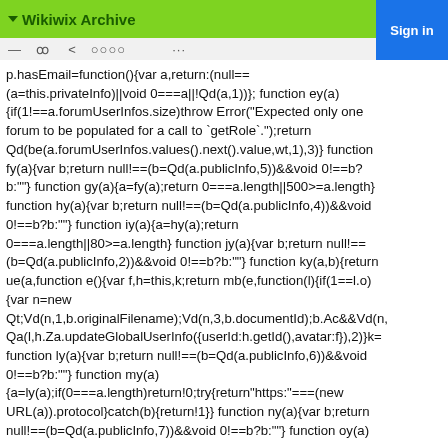Wikiwix Archive
p.hasEmail=function(){var a,return:(null==(a=this.privateInfo)||void 0===a||!Qd(a,1))}; function ey(a){if(1!==a.forumUserInfos.size)throw Error("Expected only one forum to be populated for a call to `getRole`.");return Qd(be(a.forumUserInfos.values().next().value,wt,1),3)} function fy(a){var b;return null!==(b=Qd(a.publicInfo,5))&&void 0!==b? b:""} function gy(a){a=fy(a);return 0===a.length||500>=a.length} function hy(a){var b;return null!==(b=Qd(a.publicInfo,4))&&void 0!==b?b:""} function iy(a){a=hy(a);return 0===a.length||80>=a.length} function jy(a){var b;return null!=(b=Qd(a.publicInfo,2))&&void 0!==b?b:""} function ky(a,b){return ue(a,function e(){var f,h=this,k;return mb(e,function(l){if(1==l.o){var n=new Qt;Vd(n,1,b.originalFilename);Vd(n,3,b.documentId);b.Ac&&Vd(n,Qa(l,h.Za.updateGlobalUserInfo({userId:h.getId(),avatar:f}),2)}k= function ly(a){var b;return null!==(b=Qd(a.publicInfo,6))&&void 0!==b?b:""} function my(a){a=ly(a);if(0===a.length)return!0;try{return"https:"===(new URL(a)).protocol}catch(b){return!1}} function ny(a){var b;return null!==(b=Qd(a.publicInfo,7))&&void 0!==b?b:""} function oy(a)